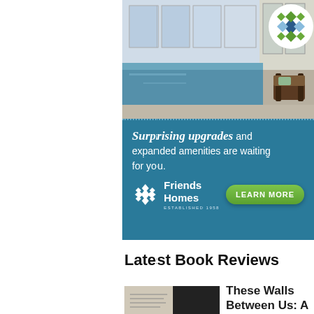[Figure (photo): Indoor swimming pool with blue water, large windows, and a chair on the deck. A decorative quilt-pattern logo in a white circle is in the top right corner.]
[Figure (infographic): Friends Homes advertisement on teal/blue background. Text reads: 'Surprising upgrades and expanded amenities are waiting for you.' Features the Friends Homes logo with snowflake icon, established 1958, and a green 'LEARN MORE' button.]
Latest Book Reviews
[Figure (photo): Book cover thumbnail for 'These Walls Between Us: A Memoir of']
These Walls Between Us: A Memoir of